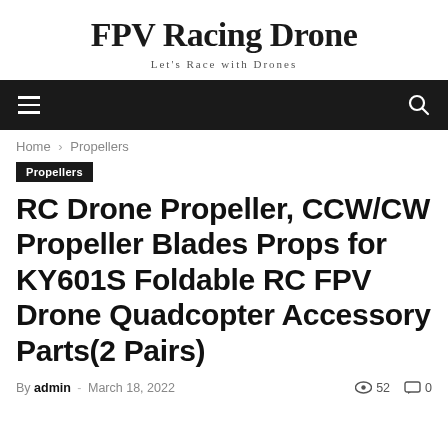FPV Racing Drone
Let's Race with Drones
Home › Propellers
Propellers
RC Drone Propeller, CCW/CW Propeller Blades Props for KY601S Foldable RC FPV Drone Quadcopter Accessory Parts(2 Pairs)
By admin - March 18, 2022  52  0